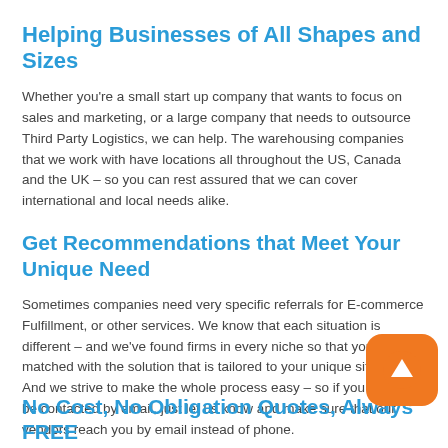Helping Businesses of All Shapes and Sizes
Whether you’re a small start up company that wants to focus on sales and marketing, or a large company that needs to outsource Third Party Logistics, we can help. The warehousing companies that we work with have locations all throughout the US, Canada and the UK – so you can rest assured that we can cover international and local needs alike.
Get Recommendations that Meet Your Unique Need
Sometimes companies need very specific referrals for E-commerce Fulfillment, or other services. We know that each situation is different – and we’ve found firms in every niche so that you’ll be matched with the solution that is tailored to your unique situation. And we strive to make the whole process easy – so if you prefer to be contacted by email, just let us know and make sure that our vendors reach you by email instead of phone.
No Cost, No Obligation Quotes, Always FREE